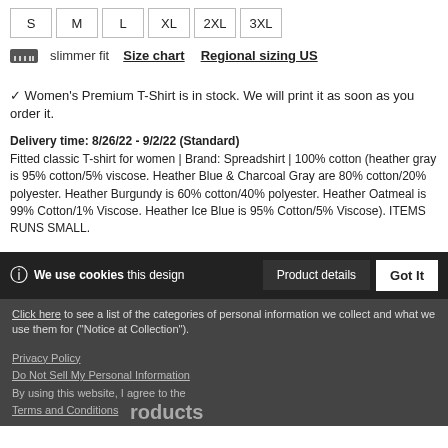| S | M | L | XL | 2XL | 3XL |
| --- | --- | --- | --- | --- | --- |
slimmer fit   Size chart   Regional sizing US
✓ Women's Premium T-Shirt is in stock. We will print it as soon as you order it.
Delivery time: 8/26/22 - 9/2/22 (Standard)
Fitted classic T-shirt for women | Brand: Spreadshirt | 100% cotton (heather gray is 95% cotton/5% viscose. Heather Blue & Charcoal Gray are 80% cotton/20% polyester. Heather Burgundy is 60% cotton/40% polyester. Heather Oatmeal is 99% Cotton/1% Viscose. Heather Ice Blue is 95% Cotton/5% Viscose). ITEMS RUNS SMALL.
🍪 We use cookies this design   Product details   Got It
Click here to see a list of the categories of personal information we collect and what we use them for ("Notice at Collection").
Privacy Policy
Do Not Sell My Personal Information
By using this website, I agree to the Terms and Conditions